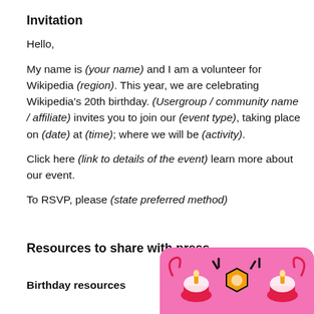Invitation
Hello,
My name is (your name) and I am a volunteer for Wikipedia (region). This year, we are celebrating Wikipedia’s 20th birthday. (Usergroup / community name / affiliate) invites you to join our (event type), taking place on (date) at (time); where we will be (activity).
Click here (link to details of the event) learn more about our event.
To RSVP, please (state preferred method)
Resources to share with press
Birthday resources
[Figure (illustration): Colorful birthday-themed illustration on a pink rounded rectangle background, showing cupcakes and decorative elements in red, yellow, and black.]